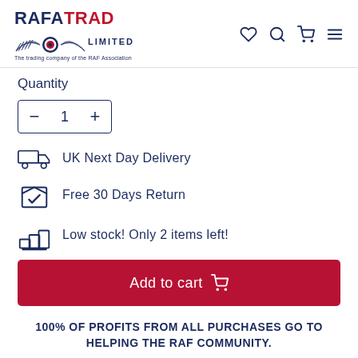[Figure (logo): RAFA TRAD LIMITED logo with RAF wings emblem and tagline 'The trading company of the RAF Association']
Quantity
- 1 +
UK Next Day Delivery
Free 30 Days Return
Low stock! Only 2 items left!
Add to cart
100% OF PROFITS FROM ALL PURCHASES GO TO HELPING THE RAF COMMUNITY.